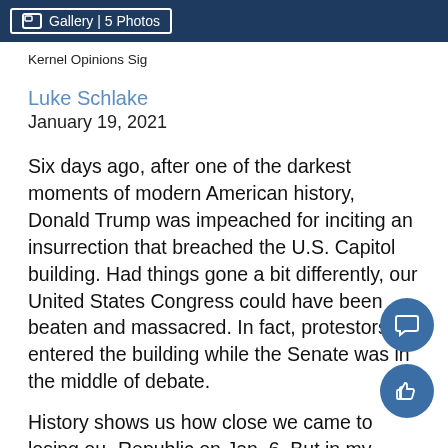Gallery | 5 Photos
Kernel Opinions Sig
Luke Schlake
January 19, 2021
Six days ago, after one of the darkest moments of modern American history, Donald Trump was impeached for inciting an insurrection that breached the U.S. Capitol building. Had things gone a bit differently, our United States Congress could have been beaten and massacred. In fact, protestors entered the building while the Senate was in the middle of debate.
History shows us how close we came to losing our Republic on Jan. 6. But in my mind, the most hein…